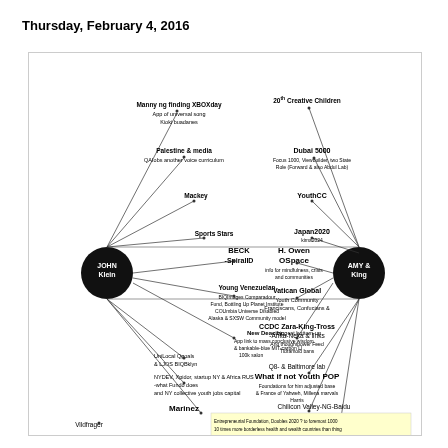Thursday, February 4, 2016
[Figure (network-graph): Network graph showing connections between central nodes JOHN Klein and AMY & King, connected to various entities including: Manny (ng finding XBOXday, App of universal song, Kioki buadanes), Palestine & media (QAIobs another voice curriculum), Mackey, Sports Stars, BECK SpiralID, Young Venezuelan (BIQImages Comparadour, Fund, Bottling Up Planet Institute, COUmbia Universe Disabled, Alaska & SXSW Community model), New Deacity (biggest bottom-up, App link to mass conclusive wisdom & bankable-blue MIT-carbon U, 100k salon), UniLocal Qgoals & LJOS BIQBklyn, NYDEV, Xpidor, startup NY & Africa RUS, -what Fundo does, and NY collective youth jobs capital, Marinez, Vildfrager, 20th Creative Children, Dubai 5000 (Focus 1000, Viewbuilder, two State Role (Forward & also Abdul Lab)), YouthCC, Japan2020 (kima2024), H.Owen OSpace (info for mindfulness, crisis and communities), Vatican Global (Youth Community, Franciscans, Confucians &), CCDC Zara-King-Tross-Anita-Neka (& links, And thoughtpower Feed, Tldramold bans), Q8 & Baltimore lab, What if not Youth POP (Foundations for him adjusted base & France of Yahweh, Millena marvals, Harris), Chilicon Valley-NG-Baidu, Black Me & Tsingua. Yellow box at bottom with entrepreneurial foundation text.]